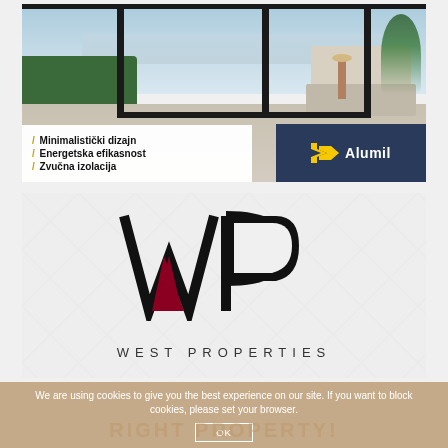[Figure (illustration): Alumil advertisement showing minimalist aluminum window/door frames with outdoor view, hedge, sofa in background. Overlay text lists: Minimalistički dizajn, Energetska efikasnost, Zvučna izolacija. Alumil logo on dark blue background.]
[Figure (logo): West Properties logo: large WP monogram with dark red/crimson accent on W, text 'WEST PROPERTIES' below in spaced capitals, on a light gray tile-pattern background.]
We are using cookies to give you the best experience on our site. If you want to block cookies, please set your browser.